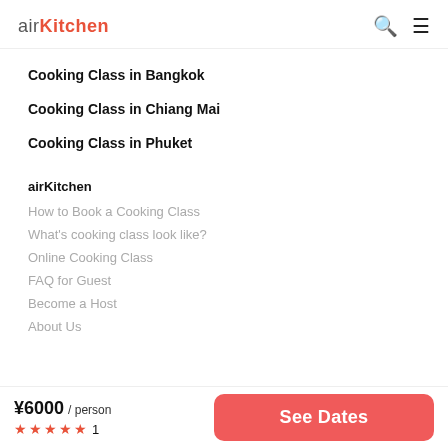airKitchen
Cooking Class in Bangkok
Cooking Class in Chiang Mai
Cooking Class in Phuket
airKitchen
How to Book a Cooking Class
What's cooking class look like?
Online Cooking Class
FAQ for Guest
Become a Host
About Us
¥6000 / person ★★★★★ 1
See Dates